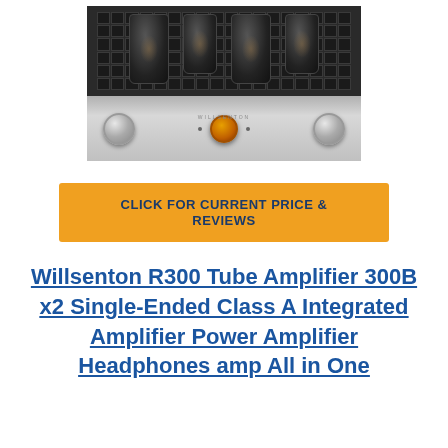[Figure (photo): Photo of Willsenton R300 tube amplifier with vacuum tubes visible on top through a metal grill, silver front panel with two large knobs and a copper/orange center element]
CLICK FOR CURRENT PRICE & REVIEWS
Willsenton R300 Tube Amplifier 300B x2 Single-Ended Class A Integrated Amplifier Power Amplifier Headphones amp All in One